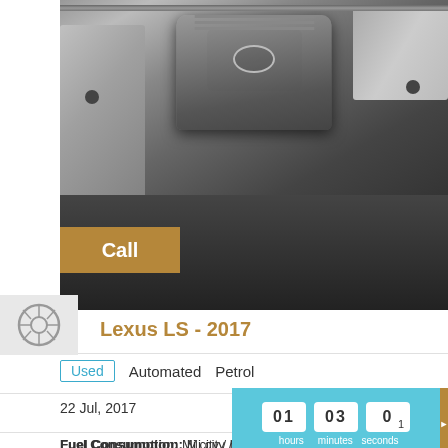[Figure (photo): Lexus engine bay photo showing engine cover with Lexus logo, taken from above. Silver and dark grey tones.]
Call
Lexus LS - 2017
Used   Automated   Petrol
22 Jul, 2017
Fuel Consumption: Mi city / highway
01 hours   03 minutes   01 seconds
Location: Bangor, United States